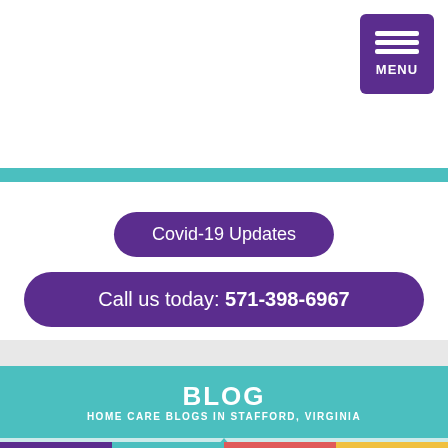[Figure (other): Purple menu button with three horizontal lines and MENU label in upper right corner]
Covid-19 Updates
Call us today: 571-398-6967
BLOG
HOME CARE BLOGS IN STAFFORD, VIRGINIA
Home > Blog > Senior Care